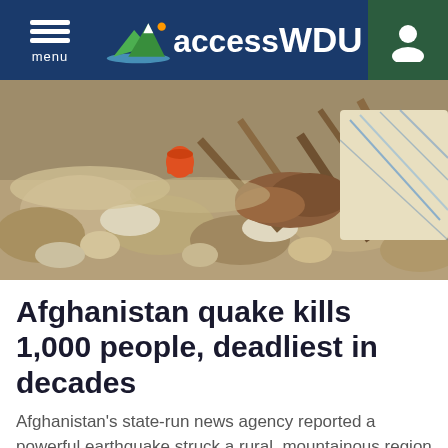accessWDUN
[Figure (photo): Earthquake rubble and debris showing rocks, broken wood, orange bucket, and fur/animal remains in a collapsed structure from the Afghanistan earthquake]
Afghanistan quake kills 1,000 people, deadliest in decades
Afghanistan's state-run news agency reported a powerful earthquake struck a rural, mountainous region of the country's east, killing 1,000 people and injuring 1,500 more
3:21PM ( 1 hour ago )
[Figure (photo): Partial view of a second news article image at the bottom of the page]